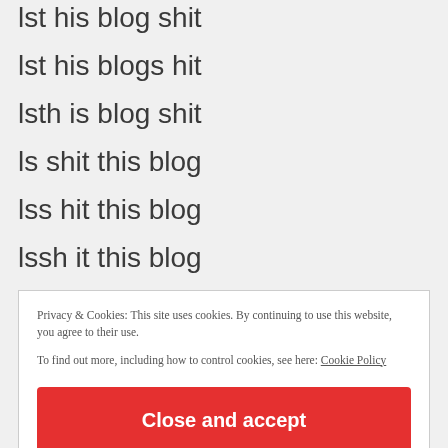lst his blog shit
lst his blogs hit
lsth is blog shit
ls shit this blog
lss hit this blog
lssh it this blog
ls blog this shit
Privacy & Cookies: This site uses cookies. By continuing to use this website, you agree to their use. To find out more, including how to control cookies, see here: Cookie Policy
Close and accept
ls thiss hit blog